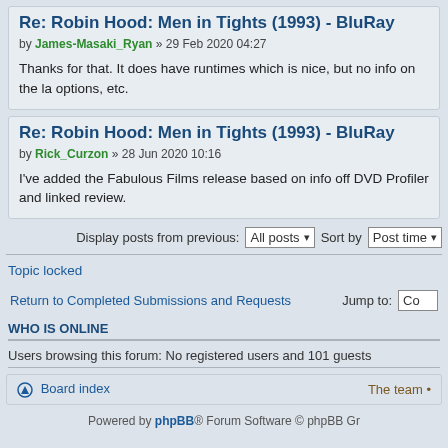Re: Robin Hood: Men in Tights (1993) - BluRay
by James-Masaki_Ryan » 29 Feb 2020 04:27
Thanks for that. It does have runtimes which is nice, but no info on the la options, etc.
Re: Robin Hood: Men in Tights (1993) - BluRay
by Rick_Curzon » 28 Jun 2020 10:16
I've added the Fabulous Films release based on info off DVD Profiler and linked review.
Display posts from previous: All posts ▾  Sort by  Post time ▾
Topic locked
Return to Completed Submissions and Requests    Jump to:  Co
WHO IS ONLINE
Users browsing this forum: No registered users and 101 guests
Board index    The team •
Powered by phpBB® Forum Software © phpBB Gr